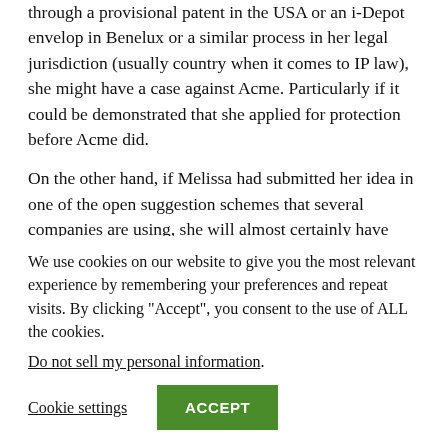through a provisional patent in the USA or an i-Depot envelop in Benelux or a similar process in her legal jurisdiction (usually country when it comes to IP law), she might have a case against Acme. Particularly if it could be demonstrated that she applied for protection before Acme did.
On the other hand, if Melissa had submitted her idea in one of the open suggestion schemes that several companies are using, she will almost certainly have signed away ALL intellectual property associated with
We use cookies on our website to give you the most relevant experience by remembering your preferences and repeat visits. By clicking “Accept”, you consent to the use of ALL the cookies.
Do not sell my personal information.
Cookie settings
ACCEPT